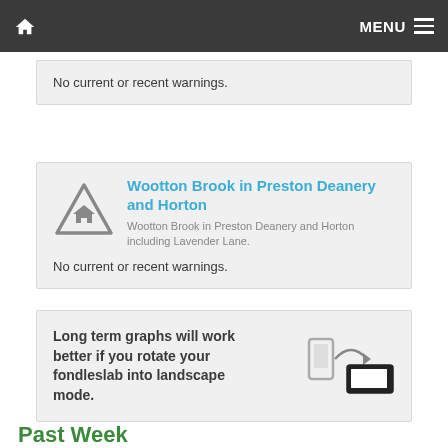MENU
No current or recent warnings.
Wootton Brook in Preston Deanery and Horton
Wootton Brook in Preston Deanery and Horton including Lavender Lane.
No current or recent warnings.
Long term graphs will work better if you rotate your fondleslab into landscape mode.
Past Week